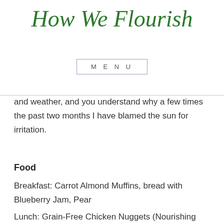How We Flourish
MENU
and weather, and you understand why a few times the past two months I have blamed the sun for irritation.
Food
Breakfast: Carrot Almond Muffins, bread with Blueberry Jam, Pear
Lunch: Grain-Free Chicken Nuggets (Nourishing Meals Cookbook, page 331) with spinach – Very